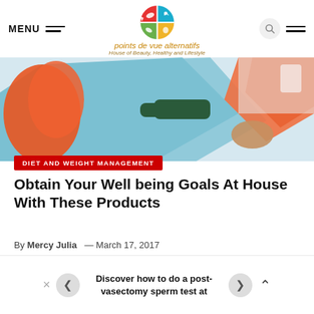[Figure (logo): Points de vue alternatifs logo — circular icon divided into four colored quadrants (red, blue, green, yellow) with food/fish imagery, with text 'points de vue alternatifs' and subtitle 'House of Beauty, Healthy and Lifestyle']
MENU
[Figure (photo): Close-up photo of a dental or medical chair with blue paper cover and orange/red element, held by a person's hand, bright medical setting]
DIET AND WEIGHT MANAGEMENT
Obtain Your Well being Goals At House With These Products
By Mercy Julia   — March 17, 2017
Discover how to do a post-vasectomy sperm test at